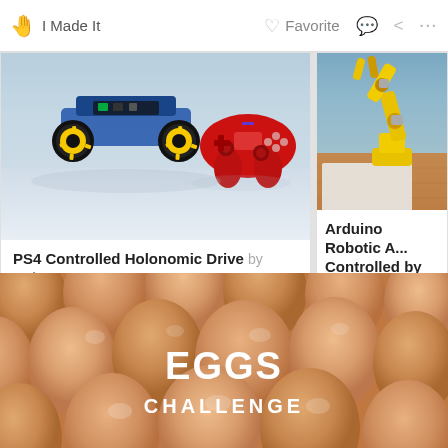I Made It   Favorite   ... ...
[Figure (photo): Holonomic drive robot with mecanum wheels (yellow/black) and a PS4 red controller on a reflective surface]
PS4 Controlled Holonomic Drive by maker_ATOM
[Figure (photo): Yellow Arduino robotic arm on a wooden surface, partly visible on right side]
Arduino Robotic A... Controlled by Tou... by Maurizio Miscio
[Figure (photo): Eggs Challenge banner: multiple brown eggs filling the frame with white text EGGS CHALLENGE overlaid on center egg]